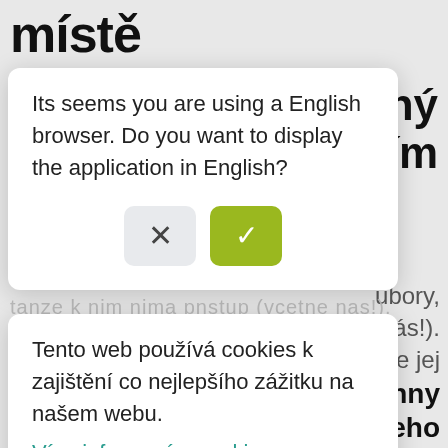místě
[Figure (screenshot): Background webpage text in Czech: partial words 'šný', 'ogiím', 'ubory,', 'ě nás!).', 'můžete jej', 'echny', 'z našeho' visible behind dialogs]
Its seems you are using a English browser. Do you want to display the application in English?
Tento web používá cookies k zajištění co nejlepšího zážitku na našem webu.
Více informací o cookies
Mám to!